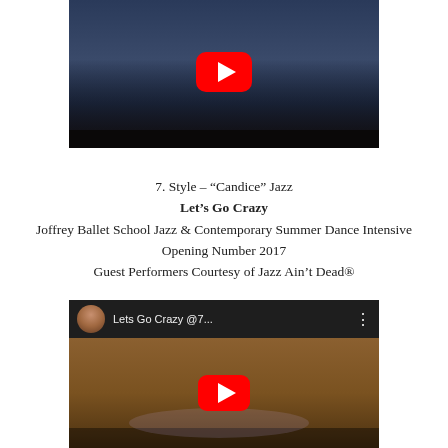[Figure (screenshot): YouTube video thumbnail showing a dance performance on stage with a large group of dancers, with a red YouTube play button overlay. Dark background.]
7. Style – “Candice” Jazz
Let’s Go Crazy
Joffrey Ballet School Jazz & Contemporary Summer Dance Intensive
Opening Number 2017
Guest Performers Courtesy of Jazz Ain’t Dead®
[Figure (screenshot): YouTube video thumbnail showing 'Lets Go Crazy @7...' with a circular avatar photo of a woman with dark hair, and a red YouTube play button overlay over a stage scene with dancers.]